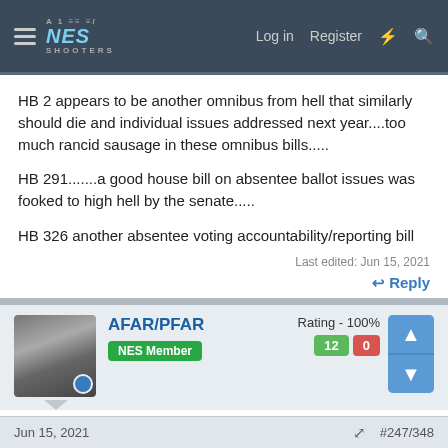NES SHOOTERS — Log in | Register
HB 2 appears to be another omnibus from hell that similarly should die and individual issues addressed next year....too much rancid sausage in these omnibus bills.....
HB 291.......a good house bill on absentee ballot issues was fooked to high hell by the senate.....
HB 326 another absentee voting accountability/reporting bill
Last edited: Jun 15, 2021
Reply
xtry51 and AFAR/PFAR
AFAR/PFAR — NES Member — Rating - 100%  12  0
Jun 15, 2021   #247/348